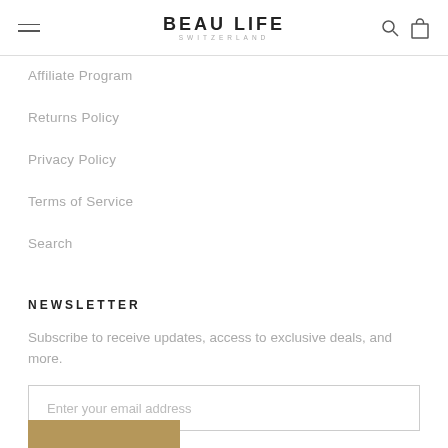BEAU LIFE SWITZERLAND
Affiliate Program
Returns Policy
Privacy Policy
Terms of Service
Search
NEWSLETTER
Subscribe to receive updates, access to exclusive deals, and more.
Enter your email address